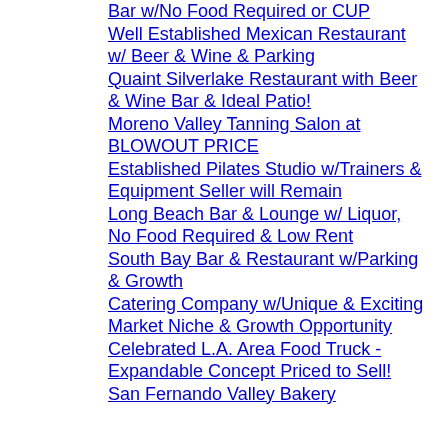Bar w/No Food Required or CUP
Well Established Mexican Restaurant w/ Beer & Wine & Parking
Quaint Silverlake Restaurant with Beer & Wine Bar & Ideal Patio!
Moreno Valley Tanning Salon at BLOWOUT PRICE
Established Pilates Studio w/Trainers & Equipment Seller will Remain
Long Beach Bar & Lounge w/ Liquor, No Food Required & Low Rent
South Bay Bar & Restaurant w/Parking & Growth
Catering Company w/Unique & Exciting Market Niche & Growth Opportunity
Celebrated L.A. Area Food Truck - Expandable Concept Priced to Sell!
San Fernando Valley Bakery